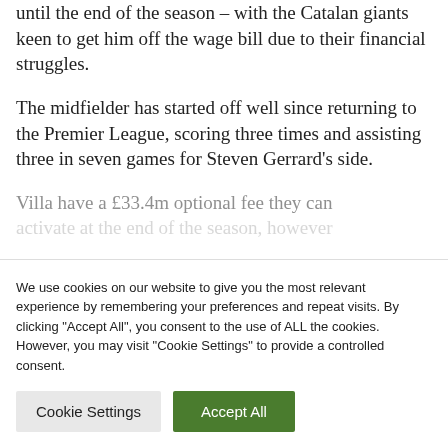until the end of the season – with the Catalan giants keen to get him off the wage bill due to their financial struggles.
The midfielder has started off well since returning to the Premier League, scoring three times and assisting three in seven games for Steven Gerrard's side.
Villa have a £33.4m optional fee they can activate at the end of the season, however
We use cookies on our website to give you the most relevant experience by remembering your preferences and repeat visits. By clicking "Accept All", you consent to the use of ALL the cookies. However, you may visit "Cookie Settings" to provide a controlled consent.